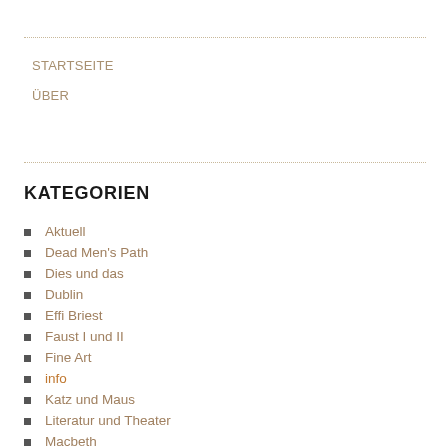STARTSEITE
ÜBER
KATEGORIEN
Aktuell
Dead Men's Path
Dies und das
Dublin
Effi Briest
Faust I und II
Fine Art
info
Katz und Maus
Literatur und Theater
Macbeth
Moon Palace